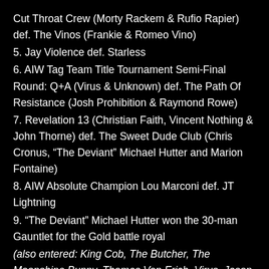Cut Throat Crew (Morty Rackem & Rufio Rapier) def. The Vinos (Frankie & Romeo Vino)
5. Jay Violence def. Starless
6. AIW Tag Team Title Tournament Semi-Final Round: Q+A (Virus & Unknown) def. The Path Of Resistance (Josh Prohibition & Raymond Rowe)
7. Revelation 13 (Christian Faith, Vincent Nothing & John Thorne) def. The Sweet Dude Club (Chris Cronus, "The Deviant" Michael Hutter and Marion Fontaine)
8. AIW Absolute Champion Lou Marconi def. JT Lightning
9. "The Deviant" Michael Hutter won the 30-man Gauntlet for the Gold battle royal
(also entered: King Cob, The Butcher, The Moonshine Bunny, Thomas Von Erich, Virus, Jason Thunder, Unknown, Kano, The Savage, Dick Wiggler, Morty Rackem, Dios Salvador, Christian Faith, Tony Galloway, Marion Fontaine, Malcolm Farrakhan, Carlton Kaz,